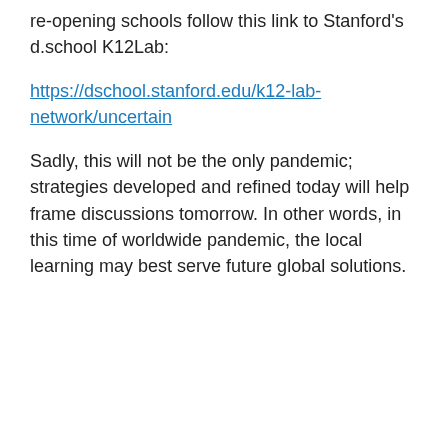re-opening schools follow this link to Stanford's d.school K12Lab:
https://dschool.stanford.edu/k12-lab-network/uncertain
Sadly, this will not be the only pandemic; strategies developed and refined today will help frame discussions tomorrow. In other words, in this time of worldwide pandemic, the local learning may best serve future global solutions.